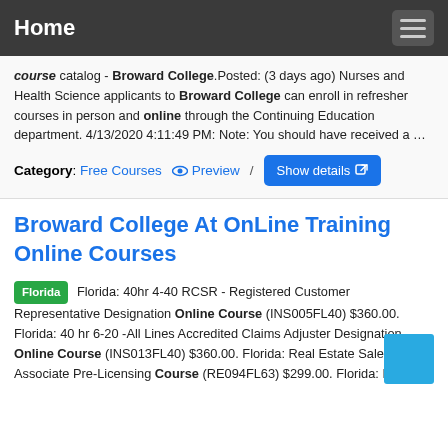Home
course catalog - Broward College.Posted: (3 days ago) Nurses and Health Science applicants to Broward College can enroll in refresher courses in person and online through the Continuing Education department. 4/13/2020 4:11:49 PM: Note: You should have received a …
Category: Free Courses   Preview / Show details
Broward College At OnLine Training Online Courses
Florida: 40hr 4-40 RCSR - Registered Customer Representative Designation Online Course (INS005FL40) $360.00. Florida: 40 hr 6-20 -All Lines Accredited Claims Adjuster Designation Online Course (INS013FL40) $360.00. Florida: Real Estate Sales Associate Pre-Licensing Course (RE094FL63) $299.00. Florida: Real